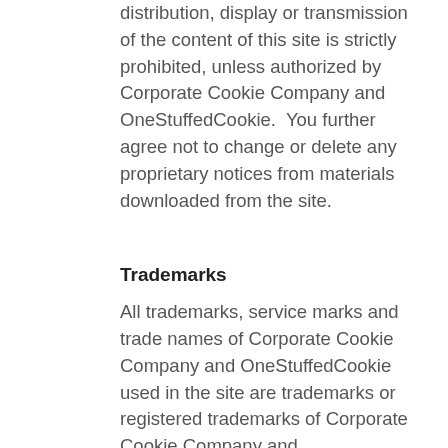distribution, display or transmission of the content of this site is strictly prohibited, unless authorized by Corporate Cookie Company and OneStuffedCookie.  You further agree not to change or delete any proprietary notices from materials downloaded from the site.
Trademarks
All trademarks, service marks and trade names of Corporate Cookie Company and OneStuffedCookie used in the site are trademarks or registered trademarks of Corporate Cookie Company and OneStuffedCookie
Warranty Disclaimer
This site and the materials and products on